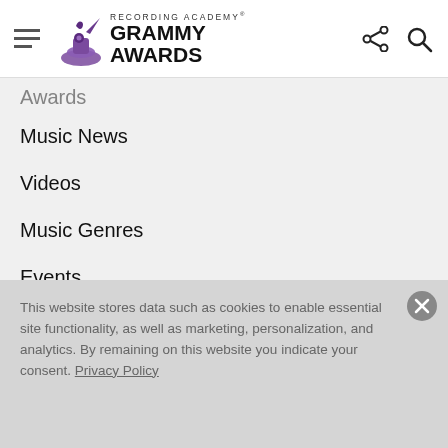Recording Academy GRAMMY AWARDS
Awards (partial, cropped)
Music News
Videos
Music Genres
Events
Store
FAQ
This website stores data such as cookies to enable essential site functionality, as well as marketing, personalization, and analytics. By remaining on this website you indicate your consent. Privacy Policy